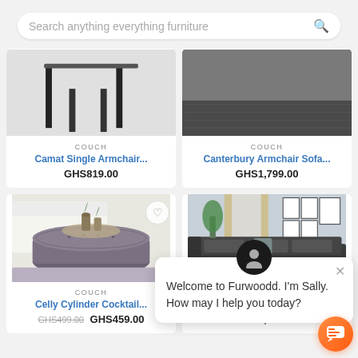Search anything everything furniture
[Figure (screenshot): Camat Single Armchair product image - furniture legs visible on white background]
COUCH
Camat Single Armchair...
GHS819.00
[Figure (screenshot): Canterbury Armchair Sofa product image - dark rug/sofa close-up]
COUCH
Canterbury Armchair Sofa...
GHS1,799.00
[Figure (screenshot): Celly Cylinder Cocktail ottoman - tufted grey velvet ottoman with plants on top, white sofa in background]
COUCH
Celly Cylinder Cocktail...
GHS499.00  GHS459.00
[Figure (screenshot): Charle montiana Sectional - dark grey sectional sofa in living room with wall art]
COUCH
Charle montiana Sec...
GHS7,999.89
Welcome to Furwoodd. I'm Sally. How may I help you today?